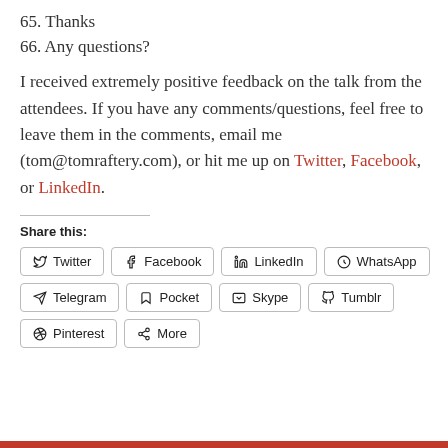65. Thanks
66. Any questions?
I received extremely positive feedback on the talk from the attendees. If you have any comments/questions, feel free to leave them in the comments, email me (tom@tomraftery.com), or hit me up on Twitter, Facebook, or LinkedIn.
Share this:
Twitter | Facebook | LinkedIn | WhatsApp | Telegram | Pocket | Skype | Tumblr | Pinterest | More